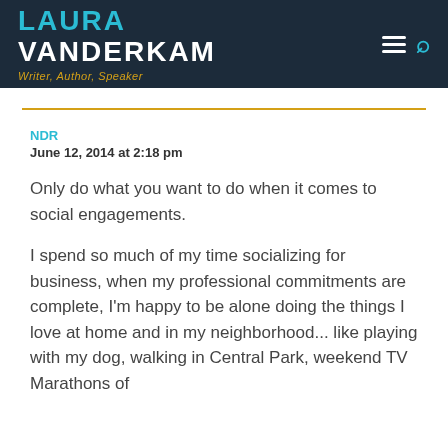LAURA VANDERKAM — Writer, Author, Speaker
NDR
June 12, 2014 at 2:18 pm
Only do what you want to do when it comes to social engagements.
I spend so much of my time socializing for business, when my professional commitments are complete, I'm happy to be alone doing the things I love at home and in my neighborhood... like playing with my dog, walking in Central Park, weekend TV Marathons of